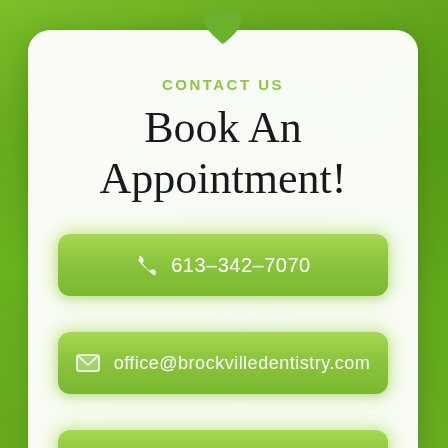[Figure (illustration): Green bokeh background with leaves/plants]
CONTACT US
Book An Appointment!
☎ 613–342–7070
✉ office@brockvilledentistry.com